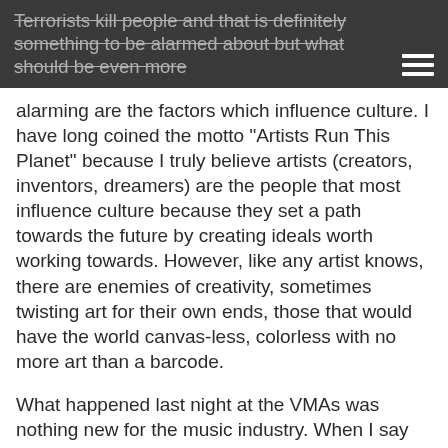Terrorists kill people and that is definitely something to be alarmed about but what should be even more
alarming are the factors which influence culture. I have long coined the motto "Artists Run This Planet" because I truly believe artists (creators, inventors, dreamers) are the people that most influence culture because they set a path towards the future by creating ideals worth working towards. However, like any artist knows, there are enemies of creativity, sometimes twisting art for their own ends, those that would have the world canvas-less, colorless with no more art than a barcode.
What happened last night at the VMAs was nothing new for the music industry. When I say music industry I don't mean the millions of musicians across the world. No, I mean the music industry: the businessmen making money from musicians. Some people think the music industry changed because of the internet. It did, but it also changed in another significant way back in 1996